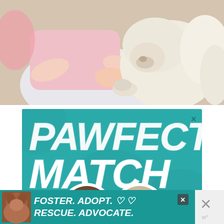[Figure (photo): A young woman in a pink shirt and white pants sitting on a couch, petting or hugging a large white/cream dog. The scene is warm and intimate, a close-up of the interaction between person and dog.]
[Figure (illustration): Advertisement banner with teal/turquoise background. Large bold italic white text reads 'PAWFECT MATCH'. Below the text are two dogs shown in circular white-bordered cutouts — a dark brindle dog on the left and a white/brown dog on the right. A small X close button is in the top right corner.]
[Figure (illustration): Bottom banner advertisement with teal background. Shows a dog photo on the left side. Bold italic white text reads 'FOSTER. ADOPT. ♡♡ RESCUE. ADVOCATE.' A small close X button appears on the right. A WordPress close button with X and 'w°' logo appears at far right.]